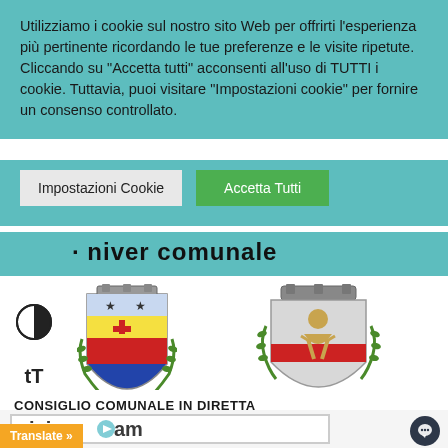Utilizziamo i cookie sul nostro sito Web per offrirti l'esperienza più pertinente ricordando le tue preferenze e le visite ripetute. Cliccando su "Accetta tutti" acconsenti all'uso di TUTTI i cookie. Tuttavia, puoi visitare "Impostazioni cookie" per fornire un consenso controllato.
[Figure (screenshot): Cookie consent banner with two buttons: 'Impostazioni Cookie' (light grey) and 'Accetta Tutti' (green)]
[Figure (screenshot): Municipality website header showing partial text, two municipal coat of arms logos, and accessibility icons (contrast toggle and text size)]
CONSIGLIO COMUNALE IN DIRETTA
[Figure (screenshot): Civicam streaming logo box and Translate button, with a dark chat bubble icon in bottom right]